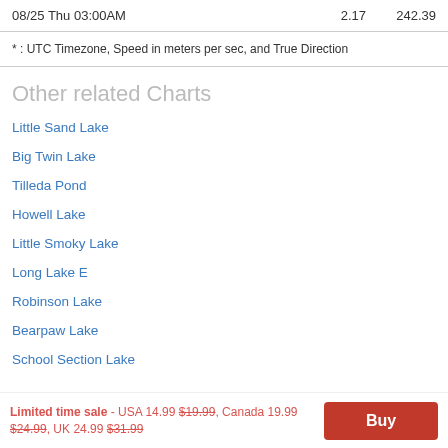| Date | Speed | Direction |
| --- | --- | --- |
| 08/25 Thu 03:00AM | 2.17 | 242.39 |
* : UTC Timezone, Speed in meters per sec, and True Direction
Other related Charts
Little Sand Lake
Big Twin Lake
Tilleda Pond
Howell Lake
Little Smoky Lake
Long Lake E
Robinson Lake
Bearpaw Lake
School Section Lake
Limited time sale - USA 14.99 $19.99, Canada 19.99 $24.99, UK 24.99 $31.99